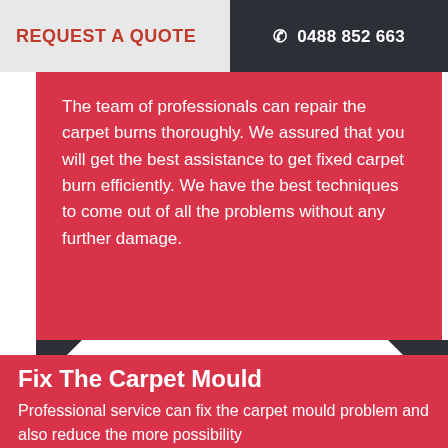REQUEST A QUOTE  ☎ 0488 852 663
The team of professionals can repair the carpet burns thoroughly. We assured that you will get the best assistance to get fixed carpet burn efficiently. We have the best techniques to come out of all the problems without any further damage.
Fix The Carpet Mould
Professional service can fix the carpet mould problem and also reduce the more possibility